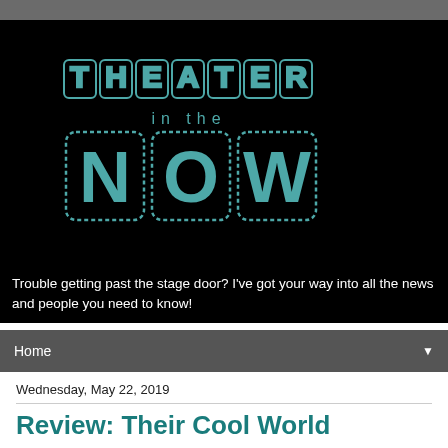[Figure (logo): Theater in the Now logo — large stylized text 'THEATER in the NOW' with dot-matrix/marquee letter style in teal/gray on black background]
Trouble getting past the stage door? I've got your way into all the news and people you need to know!
Home
Wednesday, May 22, 2019
Review: Their Cool World